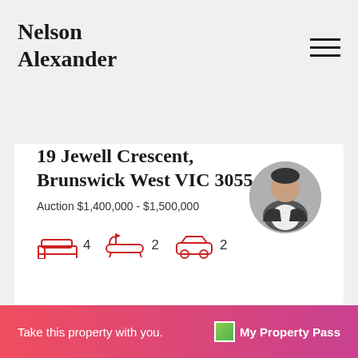Nelson Alexander
[Figure (photo): Agent headshot in circular frame]
19 Jewell Crescent, Brunswick West VIC 3055
Auction $1,400,000 - $1,500,000
[Figure (infographic): Property features: bed icon 4, bath icon 2, car icon 2]
Take this property with you. My Property Pass